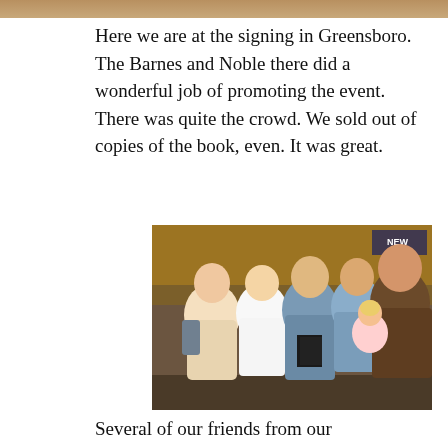[Figure (photo): Top edge of a photo showing people, cropped at the top of the page]
Here we are at the signing in Greensboro. The Barnes and Noble there did a wonderful job of promoting the event. There was quite the crowd. We sold out of copies of the book, even. It was great.
[Figure (photo): Group photo taken inside a Barnes and Noble bookstore in Greensboro. Several people including two women on the left, a man in the middle holding books, a man in a blue shirt, and a man in a brown t-shirt holding a young blonde child.]
Several of our friends from our Greensboro days came to signing. I thought that a very kind gesture. It was wonderful to see them all. From